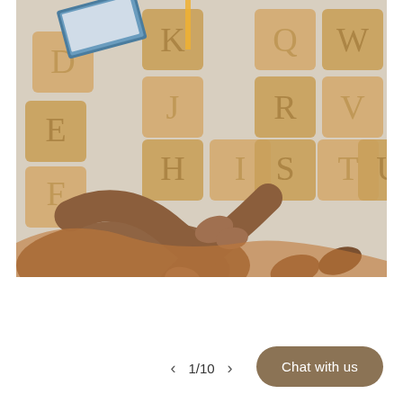[Figure (photo): Overhead view of a child sitting cross-legged arranging large wooden letter tiles on a white surface. The wooden tiles show letters E, F, K, J, H, I, Q, R, S, T, W, V, U, X and others. A book and pencil are visible in the top corner. The child is wearing an orange/rust colored outfit.]
1/10